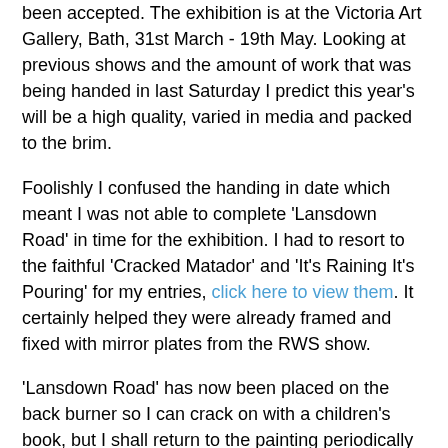been accepted. The exhibition is at the Victoria Art Gallery, Bath, 31st March - 19th May. Looking at previous shows and the amount of work that was being handed in last Saturday I predict this year's will be a high quality, varied in media and packed to the brim.
Foolishly I confused the handing in date which meant I was not able to complete 'Lansdown Road' in time for the exhibition. I had to resort to the faithful 'Cracked Matador' and 'It's Raining It's Pouring' for my entries, click here to view them. It certainly helped they were already framed and fixed with mirror plates from the RWS show.
'Lansdown Road' has now been placed on the back burner so I can crack on with a children's book, but I shall return to the painting periodically and post progress shots as it advances.
Chris Dunn at 12:28   2 comments:
Friday, 23 March 2012